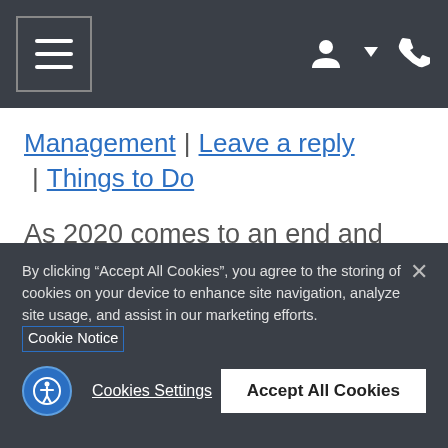Navigation bar with hamburger menu and user/phone icons
Management | Leave a reply | Things to Do
As 2020 comes to an end and we start looking forward to the new year, many Irvine residents are looking for
By clicking “Accept All Cookies”, you agree to the storing of cookies on your device to enhance site navigation, analyze site usage, and assist in our marketing efforts. Cookie Notice
Cookies Settings
Accept All Cookies